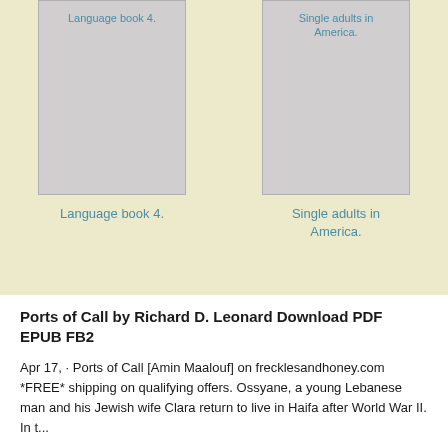[Figure (illustration): Book cover thumbnail for 'Language book 4.' shown as a gray rectangle with the title text at the top, against a beige background.]
Language book 4.
[Figure (illustration): Book cover thumbnail for 'Single adults in America.' shown as a gray rectangle with the title text at the top, against a beige background.]
Single adults in America.
Ports of Call by Richard D. Leonard Download PDF EPUB FB2
Apr 17,  · Ports of Call [Amin Maalouf] on frecklesandhoney.com *FREE* shipping on qualifying offers. Ossyane, a young Lebanese man and his Jewish wife Clara return to live in Haifa after World War II. In t...